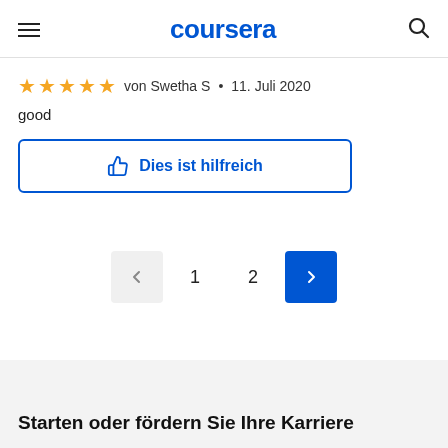coursera
★★★★★ von Swetha S • 11. Juli 2020
good
Dies ist hilfreich
< 1 2 >
Starten oder fördern Sie Ihre Karriere